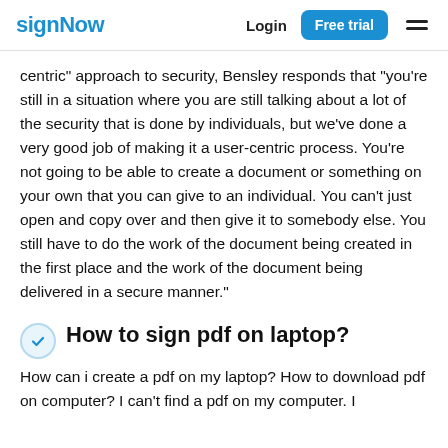signNow  Login  Free trial
centric" approach to security, Bensley responds that "you're still in a situation where you are still talking about a lot of the security that is done by individuals, but we've done a very good job of making it a user-centric process. You're not going to be able to create a document or something on your own that you can give to an individual. You can't just open and copy over and then give it to somebody else. You still have to do the work of the document being created in the first place and the work of the document being delivered in a secure manner."
How to sign pdf on laptop?
How can i create a pdf on my laptop? How to download pdf on computer? I can't find a pdf on my computer. I